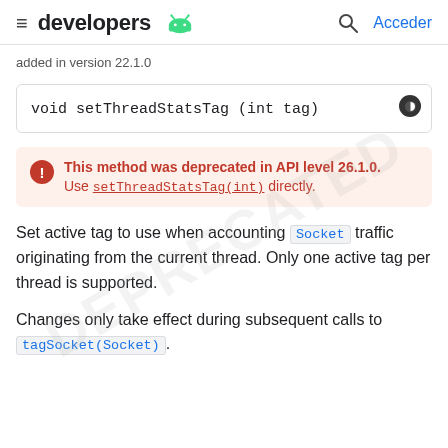developers | Acceder
added in version 22.1.0
void setThreadStatsTag (int tag)
This method was deprecated in API level 26.1.0. Use setThreadStatsTag(int) directly.
Set active tag to use when accounting Socket traffic originating from the current thread. Only one active tag per thread is supported.
Changes only take effect during subsequent calls to tagSocket(Socket).